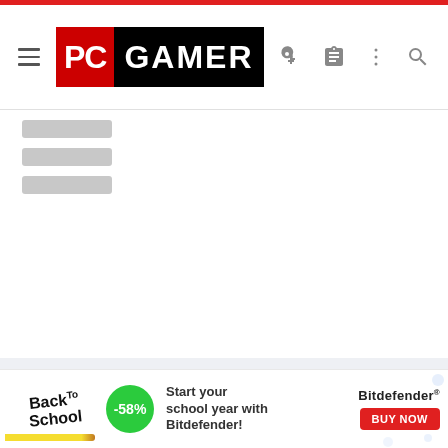PC GAMER
░░░░░░░░
░░░░░░░░
░░░░░░░░
[Figure (screenshot): Gray content loading/placeholder area below breadcrumb navigation]
[Figure (infographic): Back to School advertisement banner for Bitdefender with -58% discount offer and BUY NOW button]